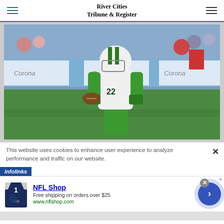River Cities Tribune & Register
[Figure (photo): Football player in green uniform with white helmet and jersey number 22, running with the ball during a night game. Corona beer advertising banners visible in the background.]
This website uses cookies to enhance user experience to analyze performance and traffic on our website.
infolinks
NFL Shop
Free shipping on orders over $25
www.nflshop.com